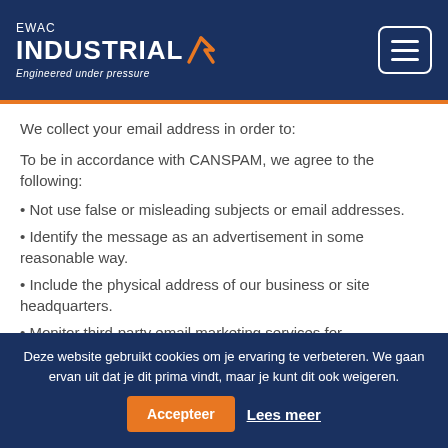EWAC INDUSTRIAL Engineered under pressure
We collect your email address in order to:
To be in accordance with CANSPAM, we agree to the following:
• Not use false or misleading subjects or email addresses.
• Identify the message as an advertisement in some reasonable way.
• Include the physical address of our business or site headquarters.
• Monitor third-party email marketing services for
Deze website gebruikt cookies om je ervaring te verbeteren. We gaan ervan uit dat je dit prima vindt, maar je kunt dit ook weigeren.
Accepteer
Lees meer